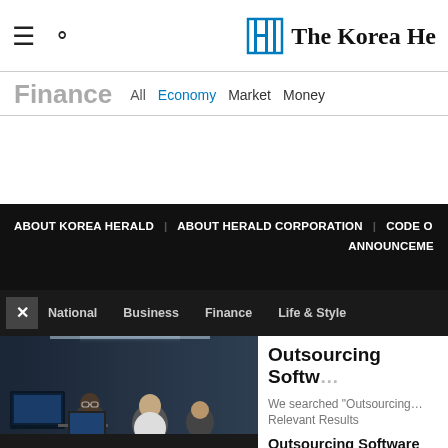The Korea Herald — Finance section navigation
Finance — All | Economy | Market | Money
ABOUT KOREA HERALD | ABOUT HERALD CORPORATION | CODE OF ETHICS ANNOUNCEMENTS
National | Business | Finance | Life & Style
[Figure (photo): Office workers at computer workstations in a technology or trading environment, dark-toned photo]
Outsourcing Softw...
We searched "Outsourcing... Relevant Results
Outsourcing Software